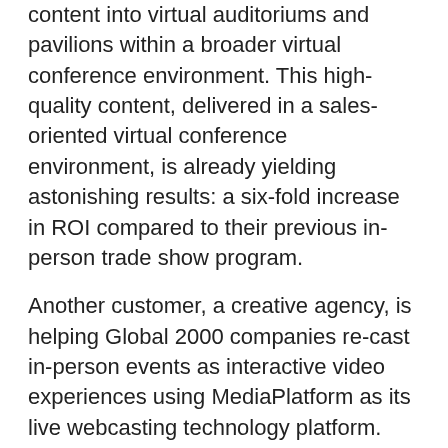content into virtual auditoriums and pavilions within a broader virtual conference environment. This high-quality content, delivered in a sales-oriented virtual conference environment, is already yielding astonishing results: a six-fold increase in ROI compared to their previous in-person trade show program.
Another customer, a creative agency, is helping Global 2000 companies re-cast in-person events as interactive video experiences using MediaPlatform as its live webcasting technology platform. When the pandemic forced the cancellation of in-person meetings, the agency turned to MediaPlatform to remotely produce live, multi-site virtual events with streaming and recorded videos, films, to bring together remote speaker panels, Q&A, polling and more to engage online audiences.
MediaPlatform's recently announced integrations with virtual event platforms enable both the Fortune 50 company and